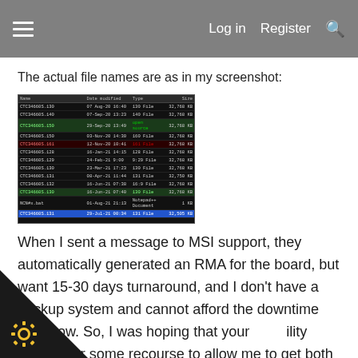Log in  Register
The actual file names are as in my screenshot:
[Figure (screenshot): A file manager window showing a list of files named CTC34660S.1xx with dates modified, file types, and sizes around 32,768 KB. Some rows are highlighted in green, one in red/dark red, and one in blue (selected). There is also one Notepad++ Document entry.]
When I sent a message to MSI support, they automatically generated an RMA for the board, but want 15-30 days turnaround, and I don't have a backup system and cannot afford the downtime right now. So, I was hoping that your ility might offer some recourse to allow me to get both working correctly.